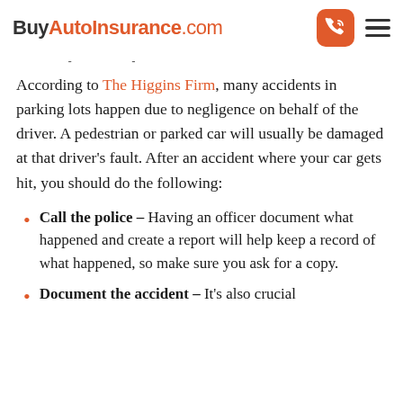BuyAutoInsurance.com
- -
According to The Higgins Firm, many accidents in parking lots happen due to negligence on behalf of the driver. A pedestrian or parked car will usually be damaged at that driver's fault. After an accident where your car gets hit, you should do the following:
Call the police – Having an officer document what happened and create a report will help keep a record of what happened, so make sure you ask for a copy.
Document the accident – It's also crucial